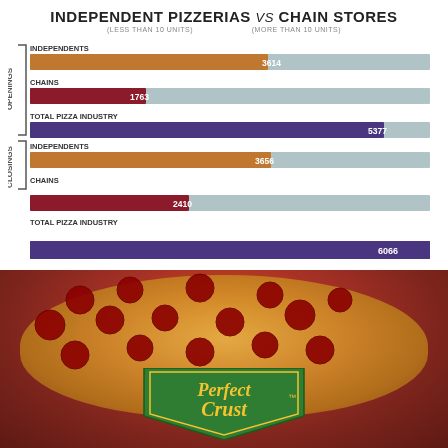INDEPENDENT PIZZERIAS vs CHAIN STORES
(LESS THAN 10 UNITS) (MORE THAN 10 UNITS)
[Figure (bar-chart): Openings and Closings - Independent Pizzerias vs Chain Stores]
[Figure (infographic): Net Loss]
SOURCE: CHD EXPERT
[Figure (photo): Pizza with pepperoni toppings and Perfect Crust brand logo/shield in green and gold at bottom]